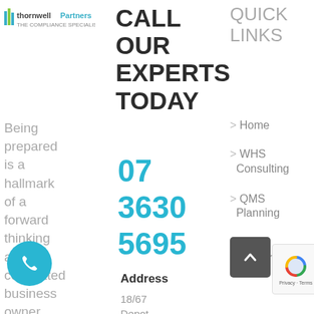[Figure (logo): Thornwell Partners logo with text and building icon]
Being prepared is a hallmark of a forward thinking and committed business owner.
CALL OUR EXPERTS TODAY
07 3630 5695
Address
18/67 Depot Street Banyo, QLD 4014
QUICK LINKS
> Home
> WHS Consulting
> QMS Planning
> HR Support